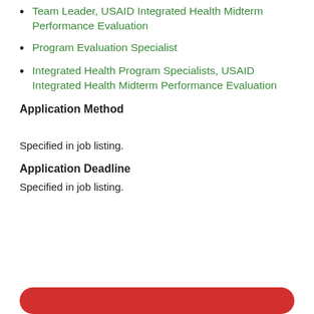Team Leader, USAID Integrated Health Midterm Performance Evaluation
Program Evaluation Specialist
Integrated Health Program Specialists, USAID Integrated Health Midterm Performance Evaluation
Application Method
Specified in job listing.
Application Deadline
Specified in job listing.